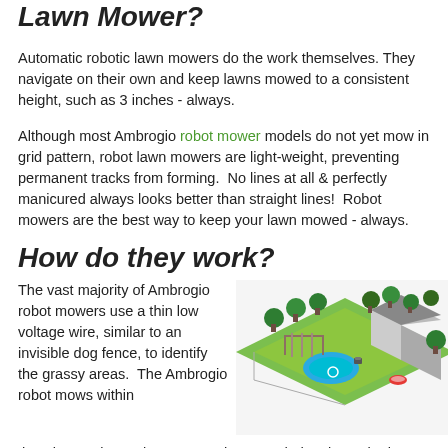Lawn Mower?
Automatic robotic lawn mowers do the work themselves. They navigate on their own and keep lawns mowed to a consistent height, such as 3 inches - always.
Although most Ambrogio robot mower models do not yet mow in grid pattern, robot lawn mowers are light-weight, preventing permanent tracks from forming.  No lines at all & perfectly manicured always looks better than straight lines!  Robot mowers are the best way to keep your lawn mowed - always.
How do they work?
The vast majority of Ambrogio robot mowers use a thin low voltage wire, similar to an invisible dog fence, to identify the grassy areas.  The Ambrogio robot mows within the wire continuously, or as much as needed, to keep the lawn mowed to a pre-set height every day. The Ambrogio robot mower is the only brand with a robot model that does
[Figure (illustration): Isometric illustration of a residential property with a lawn, swimming pool, trees, house, and a small robot mower visible on the green lawn area.]